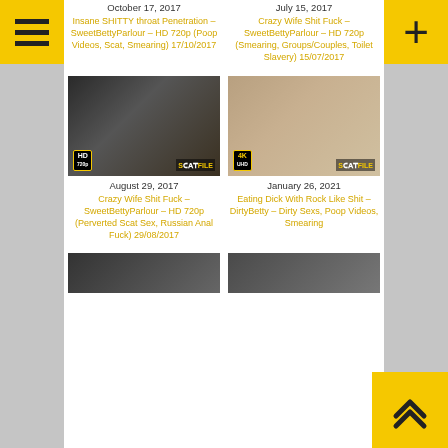[Figure (screenshot): Menu hamburger button top left, yellow background]
[Figure (screenshot): Add/plus button top right, yellow background]
October 17, 2017
Insane SHITTY throat Penetration – SweetBettyParlour – HD 720p (Poop Videos, Scat, Smearing) 17/10/2017
July 15, 2017
Crazy Wife Shit Fuck – SweetBettyParlour – HD 720p (Smearing, Groups/Couples, Toilet Slavery) 15/07/2017
[Figure (photo): Thumbnail image with HD badge, SeatFile logo]
[Figure (photo): Thumbnail image with 4K badge, SeatFile logo]
August 29, 2017
Crazy Wife Shit Fuck – SweetBettyParlour – HD 720p (Perverted Scat Sex, Russian Anal Fuck) 29/08/2017
January 26, 2021
Eating Dick With Rock Like Shit – DirtyBetty – Dirty Sexs, Poop Videos, Smearing
[Figure (photo): Partial thumbnail bottom left]
[Figure (photo): Partial thumbnail bottom right]
[Figure (screenshot): Back to top arrow button, yellow background, bottom right]